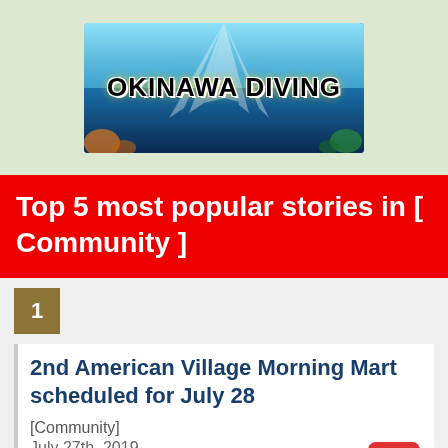[Figure (logo): Okinawa Diving logo banner with underwater ocean scene background and bold text 'OKINAWA DIVING']
Top 5 most popular stories in [ Community ]
1
2nd American Village Morning Mart scheduled for July 28
[Community]
July 27th, 2019
Encouraged by the success of their first American